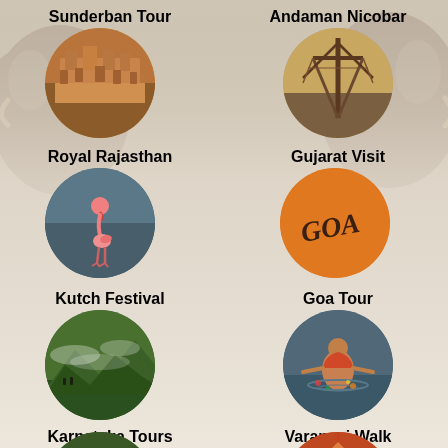[Figure (illustration): Background with elephant pattern in gray tones, fading to light beige toward the bottom]
Sunderban Tour
[Figure (photo): Circular photo of a Rajasthan-style amber/sandstone fort or temple]
Andaman Nicobar
[Figure (photo): Circular photo of wooden/bamboo structure or fishing equipment]
Royal Rajasthan
[Figure (photo): Circular photo of a flamingo standing in water]
Gujarat Visit
[Figure (photo): Circular orange/terracotta colored image with GOA text written on it]
Kutch Festival
Goa Tour
[Figure (photo): Circular photo of green misty hills/mountains with lush vegetation]
[Figure (photo): Circular photo of a person bathing or standing in river water]
Karnataka Tours
Varanasi Walk
[Figure (photo): Circular photo of rocky green mountain peaks]
[Figure (photo): Circular photo of a colorful temple or festival scene]